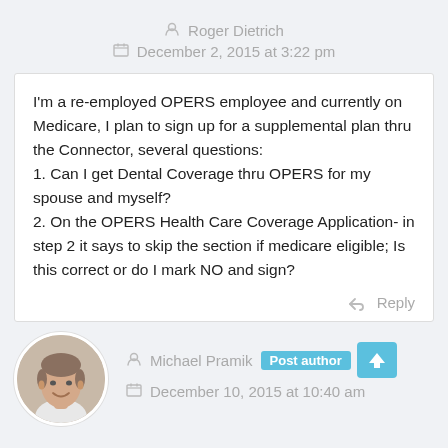Roger Dietrich
December 2, 2015 at 3:22 pm
I'm a re-employed OPERS employee and currently on Medicare, I plan to sign up for a supplemental plan thru the Connector, several questions:
1. Can I get Dental Coverage thru OPERS for my spouse and myself?
2. On the OPERS Health Care Coverage Application- in step 2 it says to skip the section if medicare eligible; Is this correct or do I mark NO and sign?
Reply
[Figure (photo): Circular avatar photo of Michael Pramik, a middle-aged man smiling, wearing a light-colored shirt]
Michael Pramik  Post author
December 10, 2015 at 10:40 am